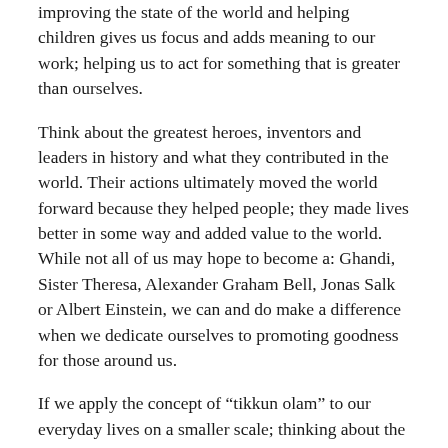improving the state of the world and helping children gives us focus and adds meaning to our work; helping us to act for something that is greater than ourselves.
Think about the greatest heroes, inventors and leaders in history and what they contributed in the world. Their actions ultimately moved the world forward because they helped people; they made lives better in some way and added value to the world. While not all of us may hope to become a: Ghandi, Sister Theresa, Alexander Graham Bell, Jonas Salk or Albert Einstein, we can and do make a difference when we dedicate ourselves to promoting goodness for those around us.
If we apply the concept of “tikkun olam” to our everyday lives on a smaller scale; thinking about the good we can do in our personal circles of influence, we improve our chance for success. It begins when we ask ourselves, “What can I do to improve my life and the lives of those around me?” Or, “How can I use my unique talents and strengths to help others?” Promoting goodness through “Tikkun Olam” motivates us; propelling our efforts in a significant and meaningful way; it gives us meaning